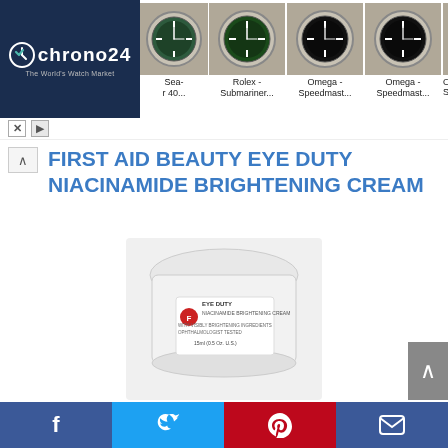[Figure (screenshot): Chrono24 advertisement banner showing watch marketplace logo on dark blue background with several watch product images including Sea-dweller, Rolex Submariner, Omega Speedmaster listings]
FIRST AID BEAUTY EYE DUTY NIACINAMIDE BRIGHTENING CREAM
[Figure (photo): White cream jar product photo - First Aid Beauty Eye Duty Niacinamide Brightening Cream, small white jar with label showing product name and size 15ml/0.5 oz]
Illuminating Eye Cream: Our targeted under-eye cream instantly brightens, hydrates and smoothes the eye area while reducing the appearance of dark circles
Facebook | Twitter | Pinterest | Email social share bar